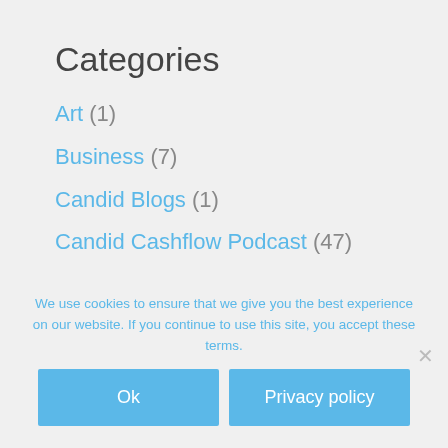Categories
Art (1)
Business (7)
Candid Blogs (1)
Candid Cashflow Podcast (47)
Content Marketing (2)
Cryptocurrency (2)
Ecommerce (2)
We use cookies to ensure that we give you the best experience on our website. If you continue to use this site, you accept these terms.